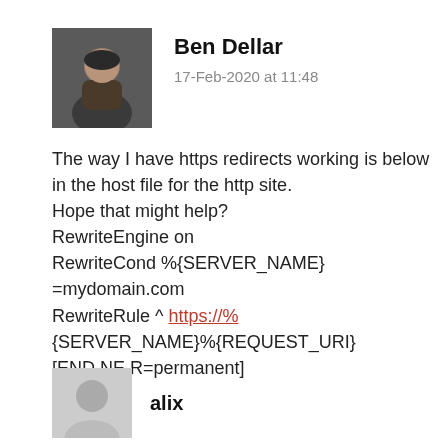Ben Dellar
17-Feb-2020 at 11:48
The way I have https redirects working is below in the host file for the http site. Hope that might help?
RewriteEngine on
RewriteCond %{SERVER_NAME} =mydomain.com
RewriteRule ^ https://%{SERVER_NAME}%{REQUEST_URI} [END,NE,R=permanent]
Reply
alix